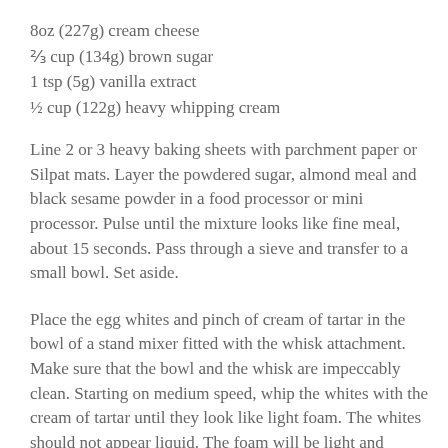8oz (227g) cream cheese
⅔ cup (134g) brown sugar
1 tsp (5g) vanilla extract
½ cup (122g) heavy whipping cream
Line 2 or 3 heavy baking sheets with parchment paper or Silpat mats. Layer the powdered sugar, almond meal and black sesame powder in a food processor or mini processor. Pulse until the mixture looks like fine meal, about 15 seconds. Pass through a sieve and transfer to a small bowl. Set aside.
Place the egg whites and pinch of cream of tartar in the bowl of a stand mixer fitted with the whisk attachment. Make sure that the bowl and the whisk are impeccably clean. Starting on medium speed, whip the whites with the cream of tartar until they look like light foam. The whites should not appear liquid. The foam will be light and should not have any structure.
Slowly rain in the granulated sugar, trying to aim the stream between